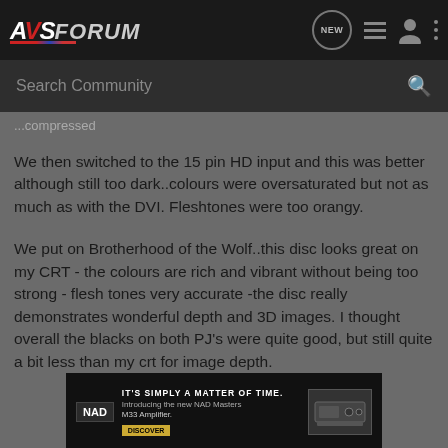AVS Forum
Search Community
...compressed
We then switched to the 15 pin HD input and this was better although still too dark..colours were oversaturated but not as much as with the DVI. Fleshtones were too orangy.
We put on Brotherhood of the Wolf..this disc looks great on my CRT - the colours are rich and vibrant without being too strong - flesh tones very accurate -the disc really demonstrates wonderful depth and 3D images. I thought overall the blacks on both PJ's were quite good, but still quite a bit less than my crt for image depth.
[Figure (screenshot): NAD advertisement banner: IT'S SIMPLY A MATTER OF TIME. Introducing the new NAD Masters M33 Amplifier. DISCOVER]